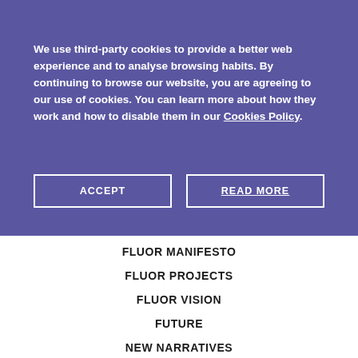We use third-party cookies to provide a better web experience and to analyse browsing habits. By continuing to browse our website, you are agreeing to our use of cookies. You can learn more about how they work and how to disable them in our Cookies Policy.
ACCEPT
READ MORE
FLUOR MANIFESTO
FLUOR PROJECTS
FLUOR VISION
FUTURE
NEW NARRATIVES